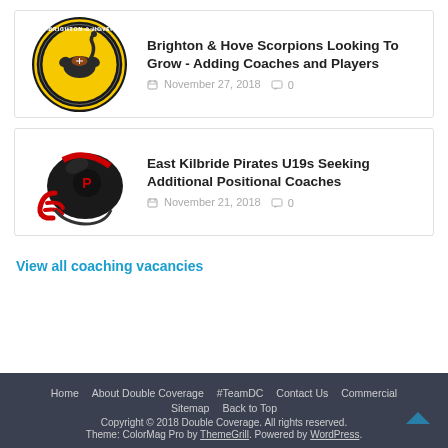[Figure (logo): Brighton & Hove Scorpions American Football Club circular logo with scorpion on yellow background]
Brighton & Hove Scorpions Looking To Grow - Adding Coaches and Players
November 27, 2018   0
[Figure (photo): East Kilbride Pirates black and red football helmet]
East Kilbride Pirates U19s Seeking Additional Positional Coaches
November 21, 2018   0
View all coaching vacancies
Home | About Double Coverage | #TeamDC | Contact Us | Commercial | Sitemap | Back to Top
Copyright © 2018 Double Coverage. All rights reserved.
Theme: ColorMag Pro by ThemeGrill. Powered by WordPress.